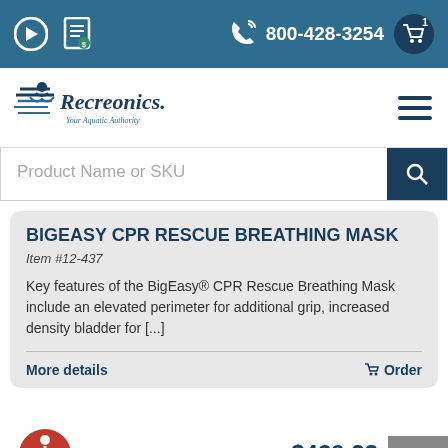800-428-3254
[Figure (logo): Recreonics logo with tagline 'Your Aquatic Authority']
Product Name or SKU
BIGEASY CPR RESCUE BREATHING MASK
Item #12-437
Key features of the BigEasy® CPR Rescue Breathing Mask include an elevated perimeter for additional grip, increased density bladder for [...]
More details
Order
$429.33